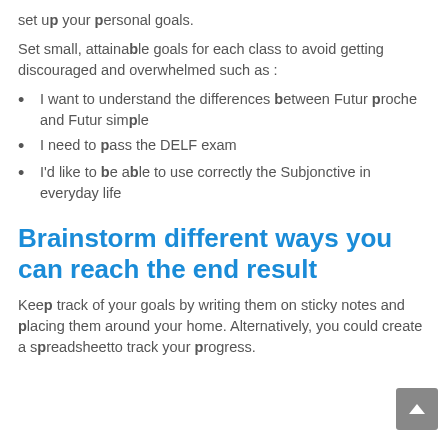set up your personal goals.
Set small, attainable goals for each class to avoid getting discouraged and overwhelmed such as :
I want to understand the differences between Futur proche and Futur simple
I need to pass the DELF exam
I'd like to be able to use correctly the Subjonctive in everyday life
Brainstorm different ways you can reach the end result
Keep track of your goals by writing them on sticky notes and placing them around your home. Alternatively, you could create a spreadsheet to track your progress.